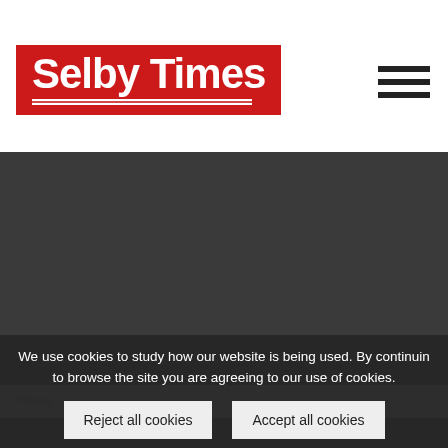Selby Times
[Figure (photo): Dark grey placeholder image area]
News -
We use cookies to study how our website is being used. By continuing to browse the site you are agreeing to our use of cookies.
Reject all cookies
Accept all cookies